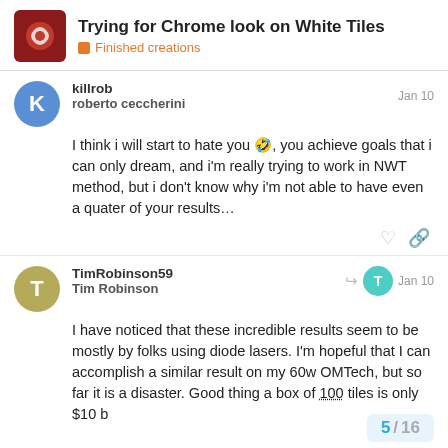Trying for Chrome look on White Tiles — Finished creations
killrob
roberto ceccherini
Jan 10
I think i will start to hate you 🤣, you achieve goals that i can only dream, and i'm really trying to work in NWT method, but i don't know why i'm not able to have even a quater of your results…
TimRobinson59
Tim Robinson
Jan 10
I have noticed that these incredible results seem to be mostly by folks using diode lasers. I'm hopeful that I can accomplish a similar result on my 60w OMTech, but so far it is a disaster. Good thing a box of 100 tiles is only $10 b
5 / 16